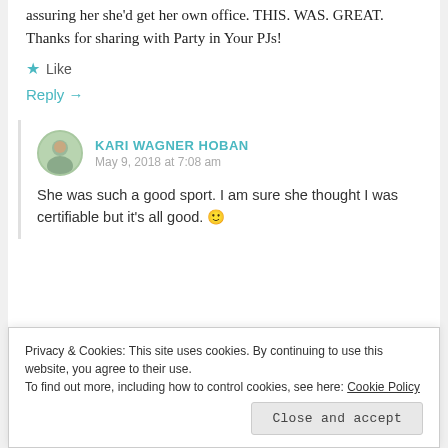assuring her she'd get her own office. THIS. WAS. GREAT. Thanks for sharing with Party in Your PJs!
Like
Reply →
KARI WAGNER HOBAN
May 9, 2018 at 7:08 am
She was such a good sport. I am sure she thought I was certifiable but it's all good. 🙂
Privacy & Cookies: This site uses cookies. By continuing to use this website, you agree to their use.
To find out more, including how to control cookies, see here: Cookie Policy
Close and accept